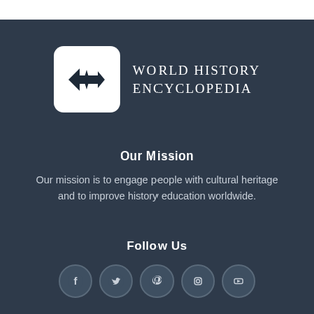[Figure (logo): World History Encyclopedia logo: white rounded square with stylized arrow/compass icon, next to text 'WORLD HISTORY ENCYCLOPEDIA' in serif font on dark navy background]
Our Mission
Our mission is to engage people with cultural heritage and to improve history education worldwide.
Follow Us
[Figure (infographic): Row of five social media icons in circular dark buttons: Facebook, Twitter, Pinterest, Instagram, YouTube]